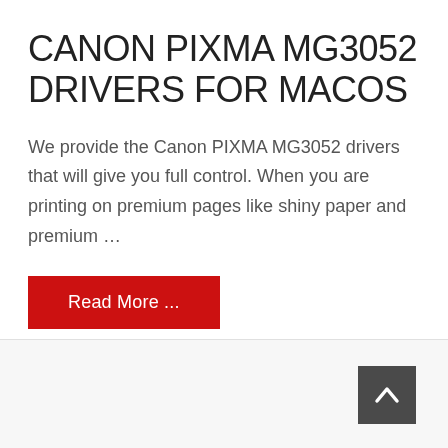CANON PIXMA MG3052 DRIVERS FOR MACOS
We provide the Canon PIXMA MG3052 drivers that will give you full control. When you are printing on premium pages like shiny paper and premium …
Read More ...
[Figure (other): Back to top button with upward chevron arrow on dark gray background]